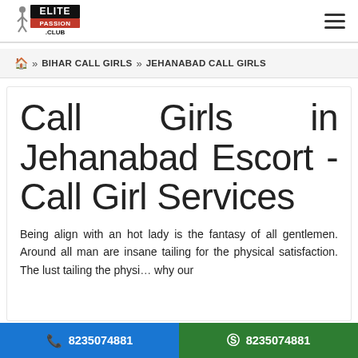[Figure (logo): Elite Passion Club logo with stylized figure and text]
≡ (hamburger menu icon)
🏠 » BIHAR CALL GIRLS » JEHANABAD CALL GIRLS
Call Girls in Jehanabad Escort - Call Girl Services
Being align with an hot lady is the fantasy of all gentlemen. Around all man are insane tailing for the physical satisfaction. The lust tailing the physi... why our
📞 8235074881   💬 8235074881